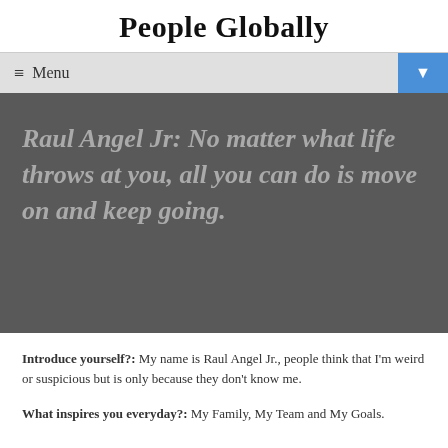People Globally
≡ Menu
Raul Angel Jr: No matter what life throws at you, all you can do is move on and keep going.
Introduce yourself?: My name is Raul Angel Jr., people think that I'm weird or suspicious but is only because they don't know me.
What inspires you everyday?: My Family, My Team and My Goals.